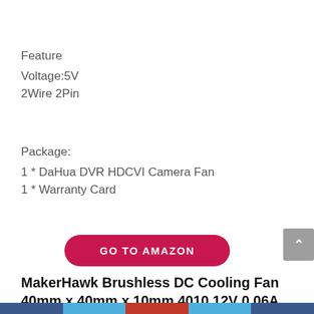Feature
Voltage:5V
2Wire 2Pin
Package:
1 * DaHua DVR HDCVI Camera Fan
1 * Warranty Card
[Figure (other): GO TO AMAZON button - red rounded button with white uppercase text]
MakerHawk Brushless DC Cooling Fan 40mm x 40mm x 10mm 4010 12V 0.06A Hydraulic Turbo Cooling Fan with 39.37inch
Social share bar with icons